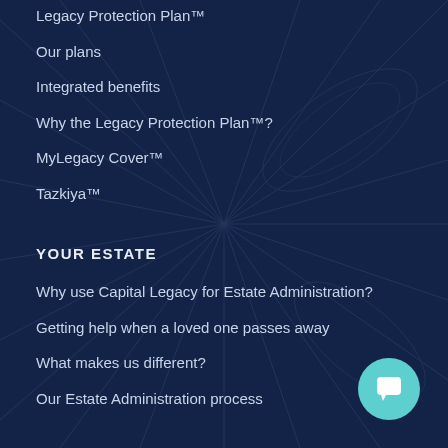Legacy Protection Plan™
Our plans
Integrated benefits
Why the Legacy Protection Plan™?
MyLegacy Cover™
Tazkiya™
YOUR ESTATE
Why use Capital Legacy for Estate Administration?
Getting help when a loved one passes away
What makes us different?
Our Estate Administration process
FAQS
Frequently asked questions
[Figure (illustration): Teal circular chat/message button icon in bottom right corner]